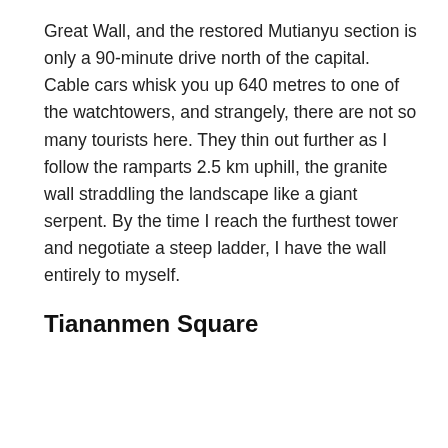Great Wall, and the restored Mutianyu section is only a 90-minute drive north of the capital. Cable cars whisk you up 640 metres to one of the watchtowers, and strangely, there are not so many tourists here. They thin out further as I follow the ramparts 2.5 km uphill, the granite wall straddling the landscape like a giant serpent. By the time I reach the furthest tower and negotiate a steep ladder, I have the wall entirely to myself.
Tiananmen Square